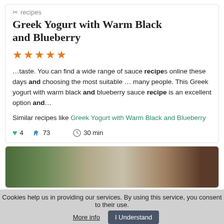✂ recipes
Greek Yogurt with Warm Black and Blueberry
[Figure (other): Five orange star rating icons]
…taste. You can find a wide range of sauce recipes online these days and choosing the most suitable … many people. This Greek yogurt with warm black and blueberry sauce recipe is an excellent option and…
Similar recipes like Greek Yogurt with Warm Black and Blueberry
♥ 4   👍 73   ⏱ 30 min
[Figure (photo): Partial image of a Christmas tree and dark furniture]
Cookies help us in providing our services. By using this service, you consent to their use. More info   I Understand